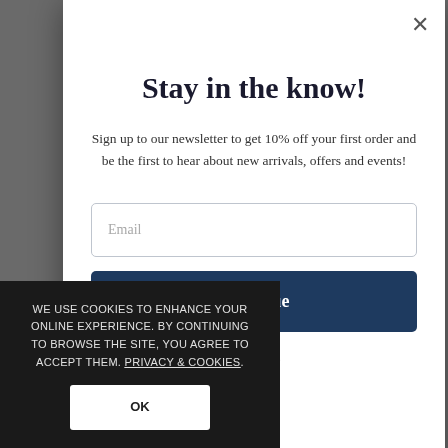Stay in the know!
Sign up to our newsletter to get 10% off your first order and be the first to hear about new arrivals, offers and events!
Email
Continue
No thanks
WE USE COOKIES TO ENHANCE YOUR ONLINE EXPERIENCE. BY CONTINUING TO BROWSE THE SITE, YOU AGREE TO ACCEPT THEM. PRIVACY & COOKIES.
OK